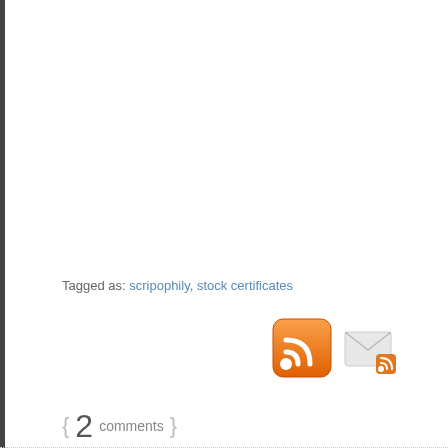Tagged as: scripophily, stock certificates
[Figure (other): RSS feed icon (orange square with white wifi/RSS symbol) and email subscription icon (envelope with small RSS badge)]
{ 2 comments }